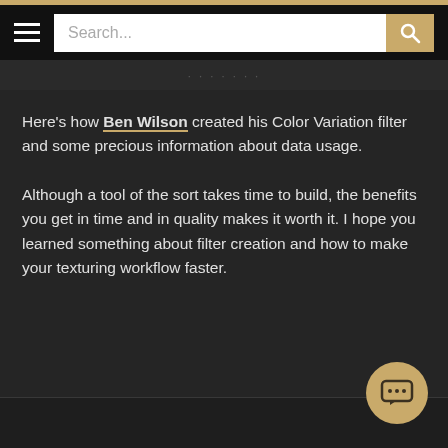Search...
Here’s how Ben Wilson created his Color Variation filter and some precious information about data usage.
Although a tool of the sort takes time to build, the benefits you get in time and in quality makes it worth it. I hope you learned something about filter creation and how to make your texturing workflow faster.